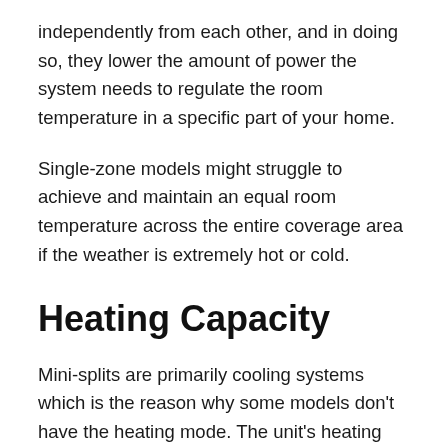independently from each other, and in doing so, they lower the amount of power the system needs to regulate the room temperature in a specific part of your home.
Single-zone models might struggle to achieve and maintain an equal room temperature across the entire coverage area if the weather is extremely hot or cold.
Heating Capacity
Mini-splits are primarily cooling systems which is the reason why some models don't have the heating mode. The unit's heating output isn't always the same as its